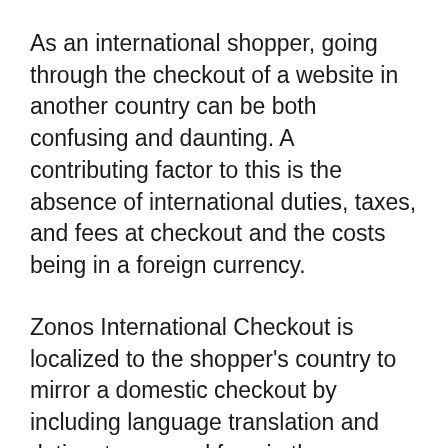As an international shopper, going through the checkout of a website in another country can be both confusing and daunting. A contributing factor to this is the absence of international duties, taxes, and fees at checkout and the costs being in a foreign currency.
Zonos International Checkout is localized to the shopper's country to mirror a domestic checkout by including language translation and duties, taxes, and fees in the customer's currency. Zonos' International Checkout API also calculates daily foreign exchange rate changes and takes country restrictions, fraud, and denied party screening into account. This helps to provide transparency and clarity to